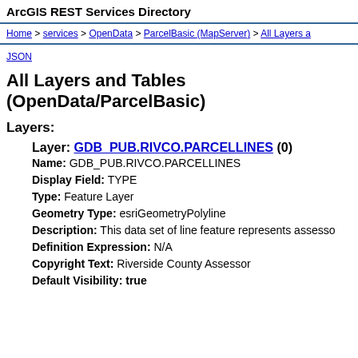ArcGIS REST Services Directory
Home > services > OpenData > ParcelBasic (MapServer) > All Layers a
JSON
All Layers and Tables (OpenData/ParcelBasic)
Layers:
Layer: GDB_PUB.RIVCO.PARCELLINES (0)
Name: GDB_PUB.RIVCO.PARCELLINES
Display Field: TYPE
Type: Feature Layer
Geometry Type: esriGeometryPolyline
Description: This data set of line feature represents assessor
Definition Expression: N/A
Copyright Text: Riverside County Assessor
Default Visibility: true